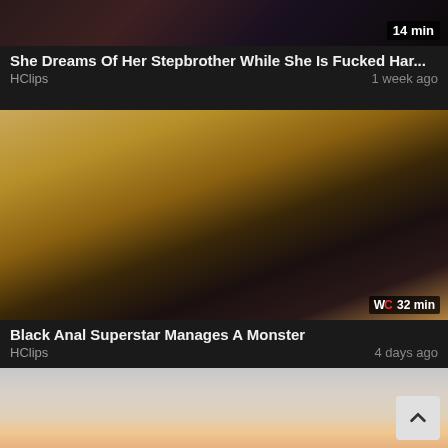[Figure (photo): Video thumbnail (cropped, dark) with duration badge '14 min']
She Dreams Of Her Stepbrother While She Is Fucked Har...
HClips    1 week ago
[Figure (photo): Video thumbnail showing adult content scene with WC logo badge and '32 min' duration]
Black Anal Superstar Manages A Monster
HClips    4 days ago
[Figure (photo): Video thumbnail (partially visible) showing a woman with red hair]